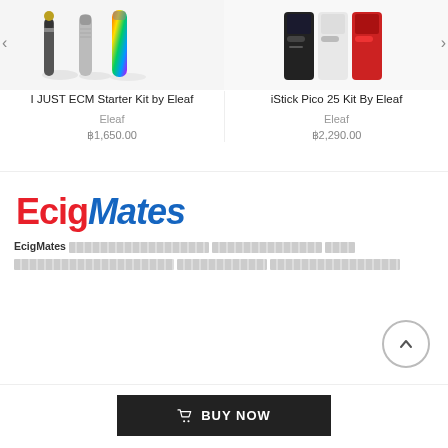[Figure (photo): Product photo of I JUST ECM Starter Kit by Eleaf — vape pen devices with metallic and rainbow finishes on white background]
I JUST ECM Starter Kit by Eleaf
Eleaf
฿1,650.00
[Figure (photo): Product photo of iStick Pico 25 Kit By Eleaf — multiple colored box mod devices on white background]
iStick Pico 25 Kit By Eleaf
Eleaf
฿2,290.00
[Figure (logo): EcigMates logo — 'Ecig' in red bold and 'Mates' in blue bold italic]
EcigMates [Thai text description about EcigMates]
BUY NOW